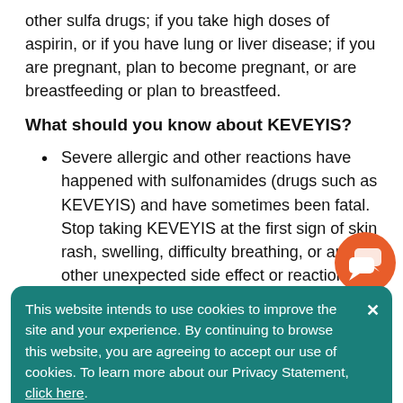other sulfa drugs; if you take high doses of aspirin, or if you have lung or liver disease; if you are pregnant, plan to become pregnant, or are breastfeeding or plan to breastfeed.
What should you know about KEVEYIS?
Severe allergic and other reactions have happened with sulfonamides (drugs such as KEVEYIS) and have sometimes been fatal. Stop taking KEVEYIS at the first sign of skin rash, swelling, difficulty breathing, or any other unexpected side effect or reaction, and call 9… right away.
Tell your healthcare provider if you take aspirin or if another healthcare provider instructs you to begin taking aspirin. High doses of aspirin should not be …
[Figure (illustration): Orange circular chat/messaging icon with two speech bubbles]
This website intends to use cookies to improve the site and your experience. By continuing to browse this website, you are agreeing to accept our use of cookies. To learn more about our Privacy Statement, click here.
treatment.